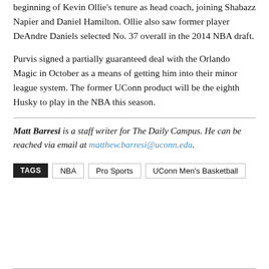beginning of Kevin Ollie's tenure as head coach, joining Shabazz Napier and Daniel Hamilton. Ollie also saw former player DeAndre Daniels selected No. 37 overall in the 2014 NBA draft.
Purvis signed a partially guaranteed deal with the Orlando Magic in October as a means of getting him into their minor league system. The former UConn product will be the eighth Husky to play in the NBA this season.
Matt Barresi is a staff writer for The Daily Campus. He can be reached via email at matthew.barresi@uconn.edu.
TAGS  NBA  Pro Sports  UConn Men's Basketball